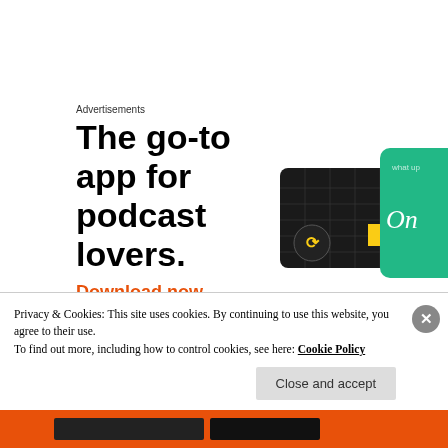Advertisements
[Figure (illustration): Advertisement for a podcast app. Large bold headline reads 'The go-to app for podcast lovers.' with an orange 'Download now' link. On the right side are two overlapping cards: a dark card with a yellow square logo and a green card with cursive text.]
SUBBASHINI MEENAKSHI SUNDARAM
Privacy & Cookies: This site uses cookies. By continuing to use this website, you agree to their use.
To find out more, including how to control cookies, see here: Cookie Policy
Close and accept